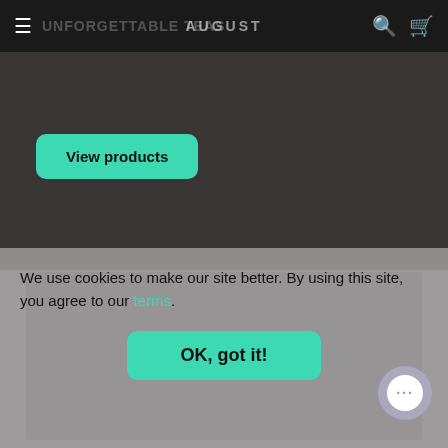UNFORGETTABLE AUGUSTEAS
[Figure (screenshot): Dark background hero section of a tea website with a teal 'View products' button]
[Figure (photo): Gray placeholder image area]
We use cookies to make our site better. By using this site, you agree to our terms.
OK, got it!